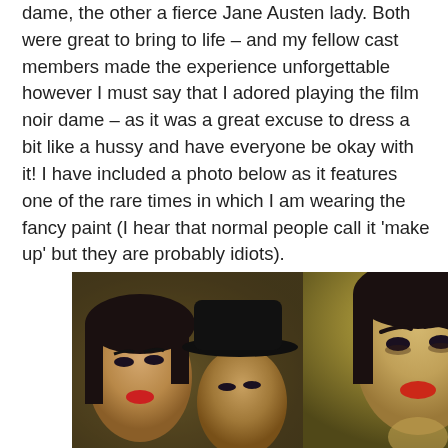dame, the other a fierce Jane Austen lady. Both were great to bring to life – and my fellow cast members made the experience unforgettable however I must say that I adored playing the film noir dame – as it was a great excuse to dress a bit like a hussy and have everyone be okay with it! I have included a photo below as it features one of the rare times in which I am wearing the fancy paint (I hear that normal people call it 'make up' but they are probably idiots).
[Figure (photo): Two side-by-side film noir style photographs. Left photo shows a woman in film noir style with red lips and dark hair alongside a man wearing a black fedora hat, both in moody lighting with warm sepia/olive tones. Right photo shows a close-up of a young woman with dark eyes, red lips, and dark hair in a yellowish-toned selfie style shot.]